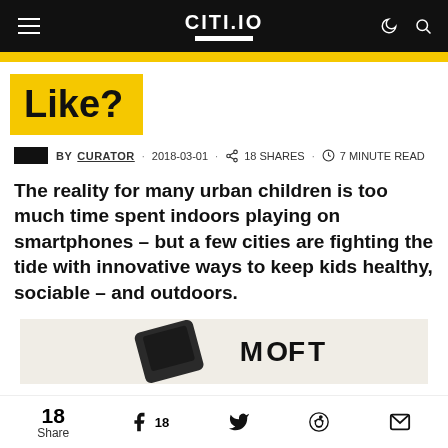CITI.IO
Like?
BY CURATOR · 2018-03-01 · 18 SHARES · 7 MINUTE READ
The reality for many urban children is too much time spent indoors playing on smartphones – but a few cities are fighting the tide with innovative ways to keep kids healthy, sociable – and outdoors.
[Figure (other): MOFT advertisement banner showing a dark device/stand product image alongside the MOFT logo]
18 Share  18  (social share icons for Facebook, Twitter, Reddit, Email)